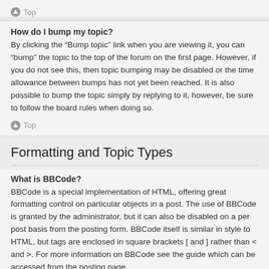Top
How do I bump my topic?
By clicking the “Bump topic” link when you are viewing it, you can “bump” the topic to the top of the forum on the first page. However, if you do not see this, then topic bumping may be disabled or the time allowance between bumps has not yet been reached. It is also possible to bump the topic simply by replying to it, however, be sure to follow the board rules when doing so.
Top
Formatting and Topic Types
What is BBCode?
BBCode is a special implementation of HTML, offering great formatting control on particular objects in a post. The use of BBCode is granted by the administrator, but it can also be disabled on a per post basis from the posting form. BBCode itself is similar in style to HTML, but tags are enclosed in square brackets [ and ] rather than < and >. For more information on BBCode see the guide which can be accessed from the posting page.
Top
Can I use HTML?